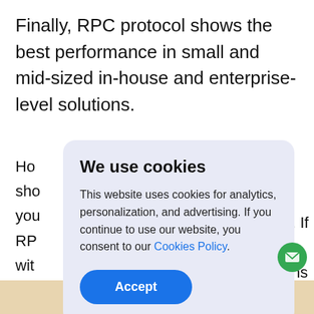Finally, RPC protocol shows the best performance in small and mid-sized in-house and enterprise-level solutions.
Ho... sho... you... RP... wit... arc... per... . If e, ns
[Figure (screenshot): Cookie consent modal dialog with title 'We use cookies', body text about analytics/personalization/advertising, a Cookies Policy link, and an Accept button.]
[Figure (illustration): Green circular FAB button with email/envelope icon in bottom right corner.]